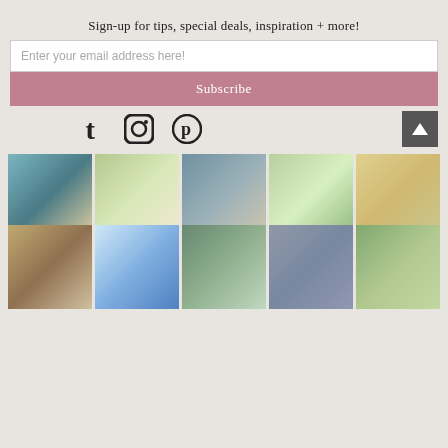Sign-up for tips, special deals, inspiration + more!
Enter your email address here!
Subscribe
[Figure (infographic): Social media icons row: Tumblr (T), Instagram (circle camera), Pinterest (P), and a scroll-to-top button with triangle]
[Figure (photo): Grid of 10 wedding and lifestyle photo thumbnails arranged in 2 rows of 5]